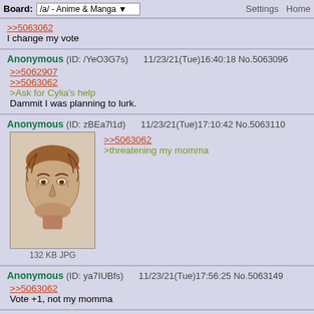Board: /a/ - Anime & Manga | Settings | Home
>>5063062
I change my vote
Anonymous (ID: /YeO3G7s) 11/23/21(Tue)16:40:18 No.5063096
>>5062907
>>5063062
>Ask for Cylia's help
Dammit I was planning to lurk.
Anonymous (ID: zBEa7l1d) 11/23/21(Tue)17:10:42 No.5063110
[image: 132 KB JPG]
>>5063062
>threatening my momma
Anonymous (ID: ya7IUBfs) 11/23/21(Tue)17:56:25 No.5063149
>>5063062
Vote +1, not my momma
Anonymous (ID: 9YEI9qqd) 11/23/21(Tue)18:40:49 No.5063174